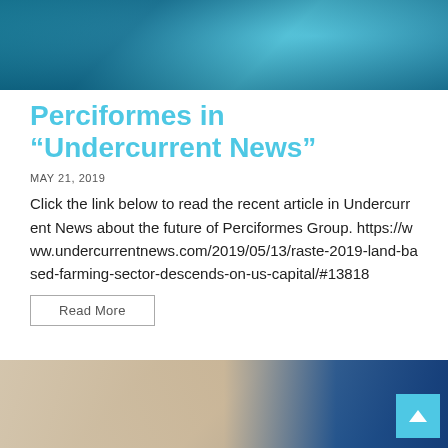[Figure (photo): Blurred blue underwater or glass abstract background image at top of page]
Perciformes in “Undercurrent News”
MAY 21, 2019
Click the link below to read the recent article in Undercurrent News about the future of Perciformes Group. https://www.undercurrentnews.com/2019/05/13/raste-2019-land-based-farming-sector-descends-on-us-capital/#13818
Read More
[Figure (photo): Blurred photo at bottom showing wooden surface on left and blue background on right, with a person partially visible]